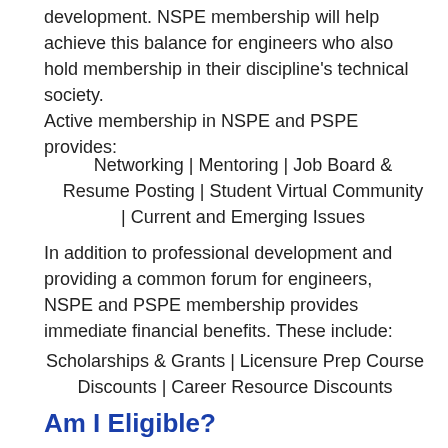development. NSPE membership will help achieve this balance for engineers who also hold membership in their discipline's technical society.
Active membership in NSPE and PSPE provides:
Networking | Mentoring | Job Board & Resume Posting | Student Virtual Community | Current and Emerging Issues
In addition to professional development and providing a common forum for engineers, NSPE and PSPE membership provides immediate financial benefits. These include:
Scholarships & Grants | Licensure Prep Course Discounts | Career Resource Discounts
Am I Eligible?